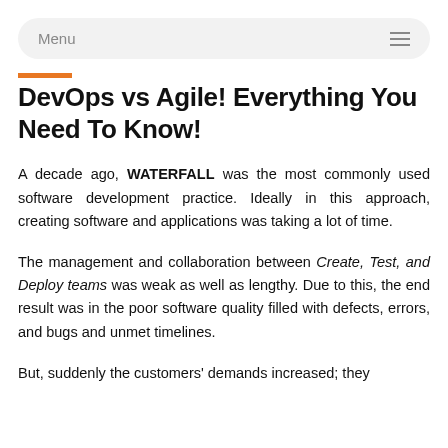Menu
DevOps vs Agile! Everything You Need To Know!
A decade ago, WATERFALL was the most commonly used software development practice. Ideally in this approach, creating software and applications was taking a lot of time.
The management and collaboration between Create, Test, and Deploy teams was weak as well as lengthy. Due to this, the end result was in the poor software quality filled with defects, errors, and bugs and unmet timelines.
But, suddenly the customers' demands increased; they